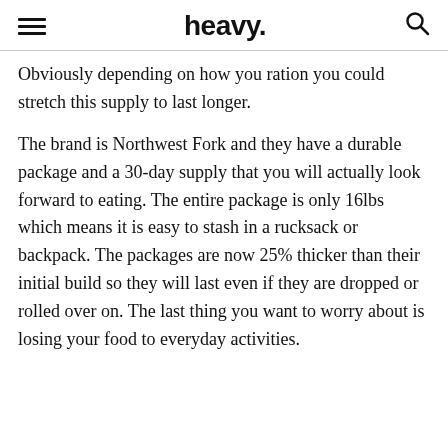heavy.
Obviously depending on how you ration you could stretch this supply to last longer.
The brand is Northwest Fork and they have a durable package and a 30-day supply that you will actually look forward to eating. The entire package is only 16lbs which means it is easy to stash in a rucksack or backpack. The packages are now 25% thicker than their initial build so they will last even if they are dropped or rolled over on. The last thing you want to worry about is losing your food to everyday activities.